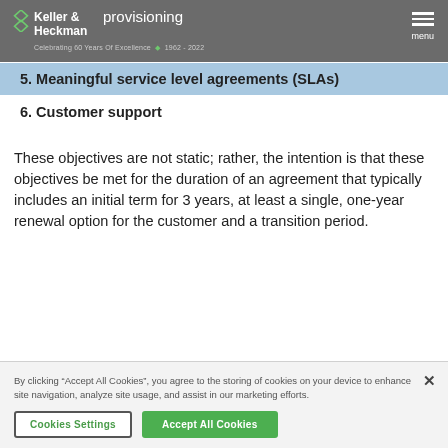Keller & Heckman — Celebrating 60 Years Of Excellence 1962 - 2022 — provisioning — menu
5. Meaningful service level agreements (SLAs)
6. Customer support
These objectives are not static; rather, the intention is that these objectives be met for the duration of an agreement that typically includes an initial term for 3 years, at least a single, one-year renewal option for the customer and a transition period.
By clicking “Accept All Cookies”, you agree to the storing of cookies on your device to enhance site navigation, analyze site usage, and assist in our marketing efforts.